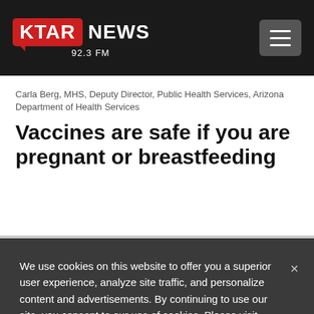KTAR NEWS 92.3 FM
Carla Berg, MHS, Deputy Director, Public Health Services, Arizona Department of Health Services
Vaccines are safe if you are pregnant or breastfeeding
We use cookies on this website to offer you a superior user experience, analyze site traffic, and personalize content and advertisements. By continuing to use our site, you consent to our use of cookies. Please visit our Privacy Policy for more information.
Accept Cookies